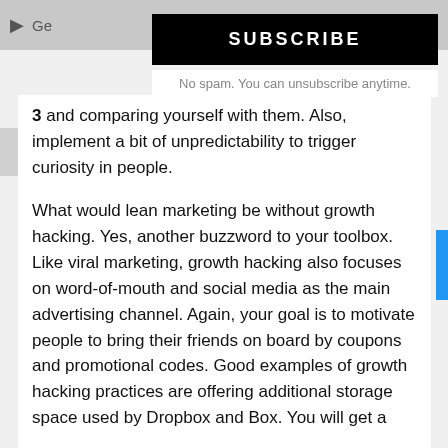[Figure (screenshot): Subscribe button overlay - black background with white bold text 'SUBSCRIBE']
No spam. You can unsubscribe anytime.
3 and comparing yourself with them. Also, implement a bit of unpredictability to trigger curiosity in people.
What would lean marketing be without growth hacking. Yes, another buzzword to your toolbox. Like viral marketing, growth hacking also focuses on word-of-mouth and social media as the main advertising channel. Again, your goal is to motivate people to bring their friends on board by coupons and promotional codes. Good examples of growth hacking practices are offering additional storage space used by Dropbox and Box. You will get a